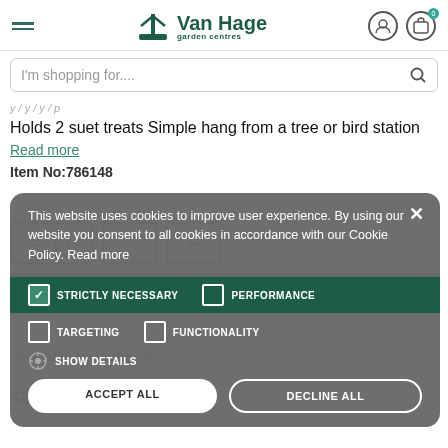Van Hage garden centres
I'm shopping for....
Holds 2 suet treats Simple hang from a tree or bird station
Read more
Item No:786148
This website uses cookies to improve user experience. By using our website you consent to all cookies in accordance with our Cookie Policy. Read more
STRICTLY NECESSARY
PERFORMANCE
TARGETING
FUNCTIONALITY
SHOW DETAILS
ADD TO BASKET
Available for Home Delivery
ACCEPT ALL
DECLINE ALL
Check Availability